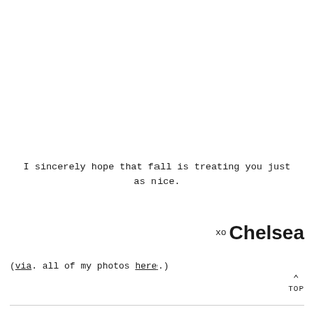I sincerely hope that fall is treating you just as nice.
xo Chelsea
(via. all of my photos here.)
TOP